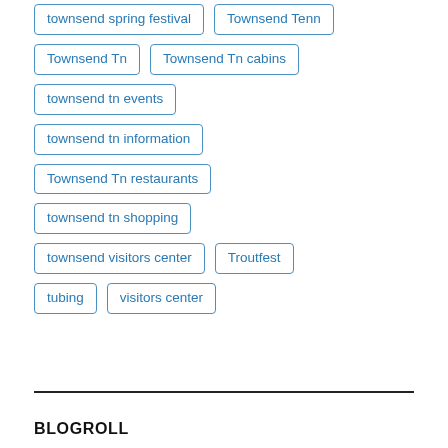townsend spring festival
Townsend Tenn
Townsend Tn
Townsend Tn cabins
townsend tn events
townsend tn information
Townsend Tn restaurants
townsend tn shopping
townsend visitors center
Troutfest
tubing
visitors center
BLOGROLL